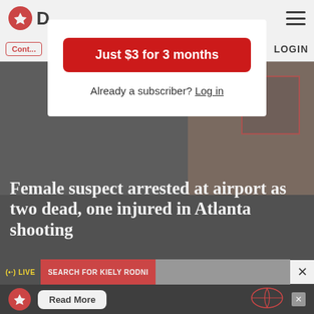D [logo] LOGIN
Cont... LOGIN
Just $3 for 3 months
Already a subscriber? Log in
Female suspect arrested at airport as two dead, one injured in Atlanta shooting
Full story: Atlanta police arrest female shooting suspect at city's airport
Top stories
(•·) LIVE  SEARCH FOR KIELY RODNI